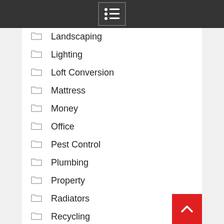Landscaping
Lighting
Loft Conversion
Mattress
Money
Office
Pest Control
Plumbing
Property
Radiators
Recycling
Remodel
Removals